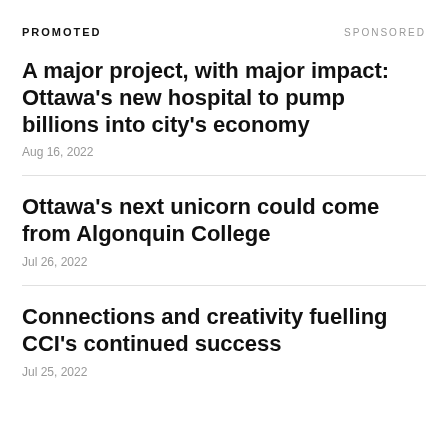PROMOTED
SPONSORED
A major project, with major impact: Ottawa's new hospital to pump billions into city's economy
Aug 16, 2022
Ottawa's next unicorn could come from Algonquin College
Jul 26, 2022
Connections and creativity fuelling CCI's continued success
Jul 25, 2022